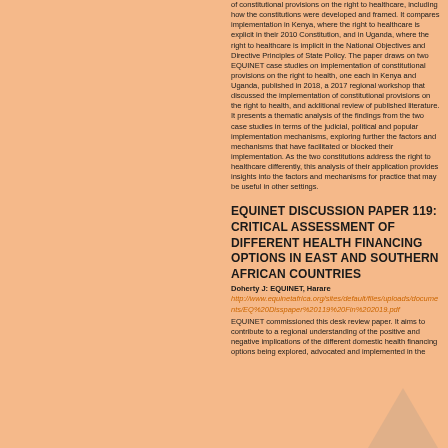of constitutional provisions on the right to healthcare, including how the constitutions were developed and framed. It compares implementation in Kenya, where the right to healthcare is explicit in their 2010 Constitution, and in Uganda, where the right to healthcare is implicit in the National Objectives and Directive Principles of State Policy. The paper draws on two EQUINET case studies on implementation of constitutional provisions on the right to health, one each in Kenya and Uganda, published in 2018, a 2017 regional workshop that discussed the implementation of constitutional provisions on the right to health, and additional review of published literature. It presents a thematic analysis of the findings from the two case studies in terms of the judicial, political and popular implementation mechanisms, exploring further the factors and mechanisms that have facilitated or blocked their implementation. As the two constitutions address the right to healthcare differently, this analysis of their application provides insights into the factors and mechanisms for practice that may be useful in other settings.
EQUINET DISCUSSION PAPER 119: CRITICAL ASSESSMENT OF DIFFERENT HEALTH FINANCING OPTIONS IN EAST AND SOUTHERN AFRICAN COUNTRIES
Doherty J: EQUINET, Harare
http://www.equinetafrica.org/sites/default/files/uploads/documents/EQ%20Disspaper%20119%20Fin%202019.pdf
EQUINET commissioned this desk review paper. It aims to contribute to a regional understanding of the positive and negative implications of the different domestic health financing options being explored, advocated and implemented in the